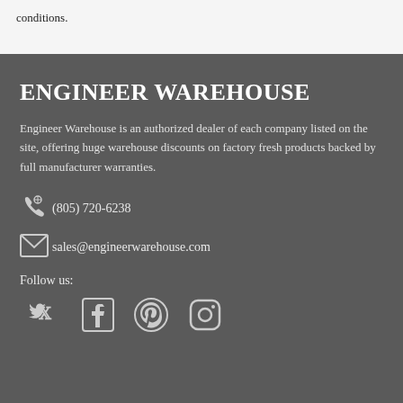conditions.
ENGINEER WAREHOUSE
Engineer Warehouse is an authorized dealer of each company listed on the site, offering huge warehouse discounts on factory fresh products backed by full manufacturer warranties.
(805) 720-6238
sales@engineerwarehouse.com
Follow us: